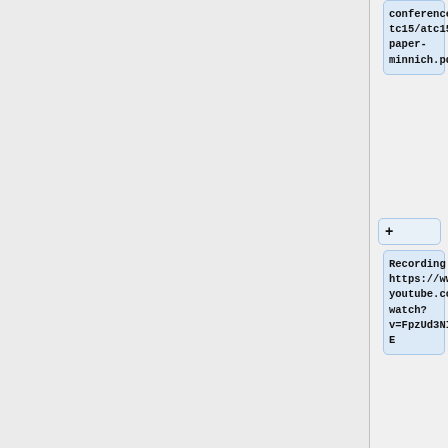conference/atc15/atc15-paper-minnich.pdf
+
Recording: https://www.youtube.com/watch?v=FpzUd3NID6E
+
Presenter: Ron Minnich (rminnich)
+
==== 11:30
Flashpr...